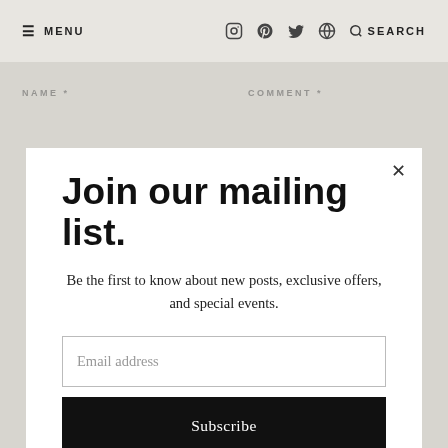≡ MENU  [icons: instagram, pinterest, twitter, world]  🔍 SEARCH
NAME *
COMMENT *
Join our mailing list.
Be the first to know about new posts, exclusive offers, and special events.
Email address
Subscribe